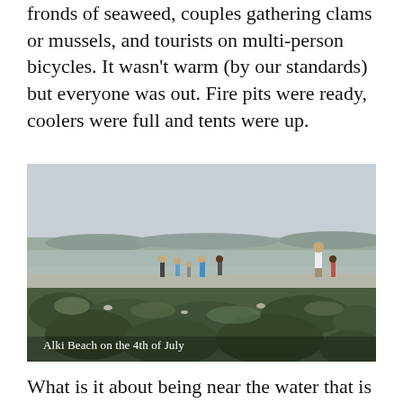fronds of seaweed, couples gathering clams or mussels, and tourists on multi-person bicycles. It wasn't warm (by our standards) but everyone was out. Fire pits were ready, coolers were full and tents were up.
[Figure (photo): Beach scene at Alki Beach on the 4th of July. Low tide reveals green algae-covered rocks in the foreground. Several people walk along the wet sand in the middle distance, with a hazy shoreline and city in the background under an overcast sky.]
Alki Beach on the 4th of July
What is it about being near the water that is so